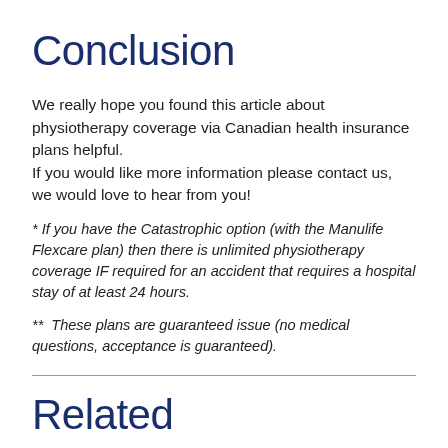Conclusion
We really hope you found this article about physiotherapy coverage via Canadian health insurance plans helpful.
If you would like more information please contact us, we would love to hear from you!
* If you have the Catastrophic option (with the Manulife Flexcare plan) then there is unlimited physiotherapy coverage IF required for an accident that requires a hospital stay of at least 24 hours.
**  These plans are guaranteed issue (no medical questions, acceptance is guaranteed).
Related